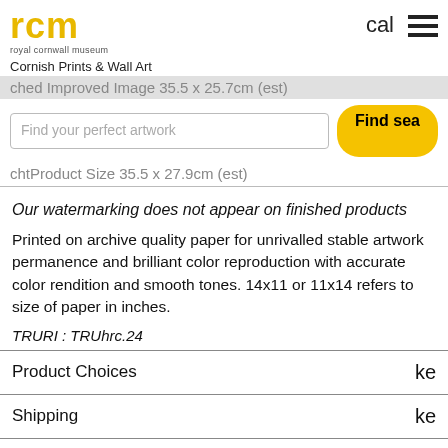[Figure (logo): Royal Cornwall Museum logo — 'rcm' in yellow bold, 'royal cornwal museum' in small grey text below]
cal [cart icon] [hamburger menu]
Cornish Prints & Wall Art
ched Improved Image 35.5 x 25.7cm (est)
Find your perfect artwork
Find sea [button]
chtProduct Size 35.5 x 27.9cm (est)
Our watermarking does not appear on finished products
Printed on archive quality paper for unrivalled stable artwork permanence and brilliant color reproduction with accurate color rendition and smooth tones. 14x11 or 11x14 refers to size of paper in inches.
TRURI : TRUhrc.24
Product Choices
ke
Shipping
ke
30 Day Money Back Guarantee
ke